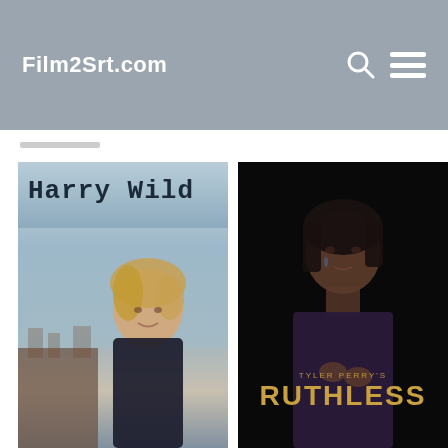Film2Srt.com
[Figure (screenshot): Website screenshot of Film2Srt.com showing a navigation header with site logo, search icon, and hamburger menu on a grey background, followed by two TV show poster images: Harry Wild (left) showing a blonde woman in front of a building with typewriter-style title text, and Tyler Perry's Ruthless (right) showing a Black woman against a dark background with gold title text]